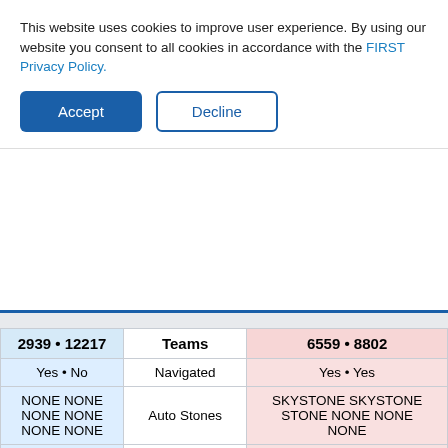This website uses cookies to improve user experience. By using our website you consent to all cookies in accordance with the FIRST Privacy Policy.
| 2939 • 12217 | Teams | 6559 • 8802 |
| --- | --- | --- |
| Yes • No | Navigated | Yes • Yes |
| NONE NONE NONE NONE NONE NONE | Auto Stones | SKYSTONE SKYSTONE STONE NONE NONE NONE |
| 0 | Auto Delivered | 3 |
| 0 | Auto Placed | 3 |
| 0 | Auto Returned | 0 |
| No | First Returned | No |